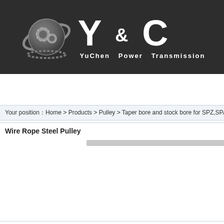[Figure (logo): YuChen Power Transmission company logo with globe/gear graphic and Y & C text on dark background]
Your position：Home > Products > Pulley > Taper bore and stock bore for SPZ,SPA,SPC,
Wire Rope Steel Pulley